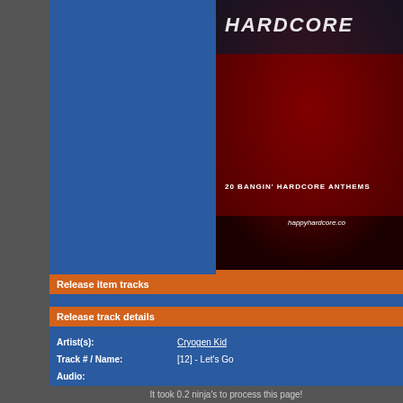[Figure (photo): Album art for a Hardcore music compilation showing red and dark textures with 'HARDCORE' title text and '20 BANGIN' HARDCORE ANTHEMS' subtitle plus happyhardcore.com logo]
Release item infomation
| Item Release date: |  |
| Item release format: | CD - compilation |
Release item tracks
Release track details
| Artist(s): | Cryogen Kid |
| Track # / Name: | [12] - Let's Go |
| Audio: |  |
| RingTone: |  |
| Creation Date: | 2003/05/28 |
| Last Updated: | 2003/05/28 |
| Lyrics: |  |
It took 0.2 ninja's to process this page!